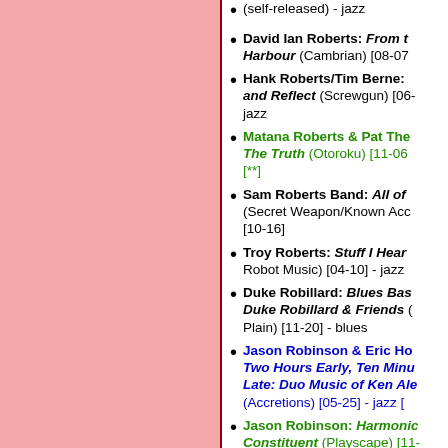(self-released) - jazz
David Ian Roberts: From the Harbour (Cambrian) [08-07
Hank Roberts/Tim Berne: and Reflect (Screwgun) [06- jazz
Matana Roberts & Pat The The Truth (Otoroku) [11-06 [**]
Sam Roberts Band: All of (Secret Weapon/Known Acc [10-16]
Troy Roberts: Stuff I Hear Robot Music) [04-10] - jazz
Duke Robillard: Blues Bas Duke Robillard & Friends ( Plain) [11-20] - blues
Jason Robinson & Eric Ho Two Hours Early, Ten Minu Late: Duo Music of Ken Ale (Accretions) [05-25] - jazz [
Jason Robinson: Harmonic Constituent (Playscape) [11- jazz [A-]
Tilman Robinson: Cultured